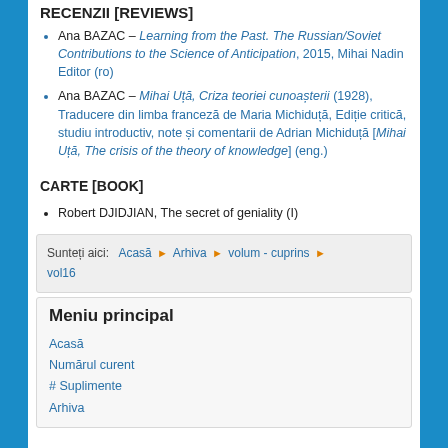RECENZII [REVIEWS]
Ana BAZAC – Learning from the Past. The Russian/Soviet Contributions to the Science of Anticipation, 2015, Mihai Nadin Editor (ro)
Ana BAZAC – Mihai Uță, Criza teoriei cunoașterii (1928), Traducere din limba franceză de Maria Micidduță, Ediție critică, studiu introductiv, note și comentarii de Adrian Michiduță [Mihai Uță, The crisis of the theory of knowledge] (eng.)
CARTE [BOOK]
Robert DJIDJIAN, The secret of geniality (I)
Sunteți aici: Acasă ▶ Arhiva ▶ volum - cuprins ▶ vol16
Meniu principal
Acasă
Numărul curent
# Suplimente
Arhiva